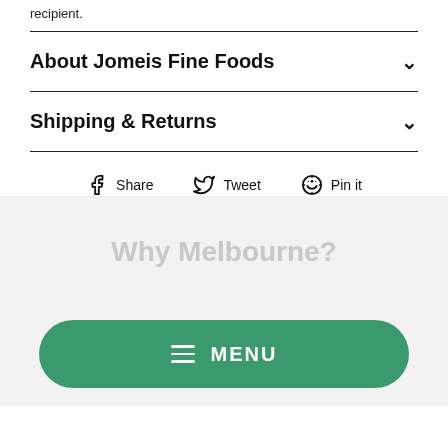recipient.
About Jomeis Fine Foods
Shipping & Returns
Share  Tweet  Pin it
[Figure (screenshot): Partially visible heading text 'Why Melbourne?' in light grey]
MENU